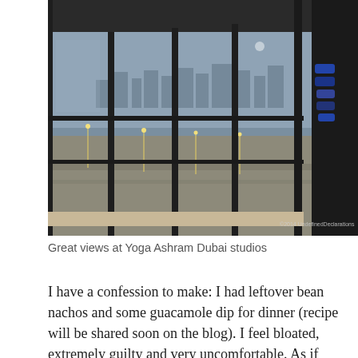[Figure (photo): Interior view from a high-rise yoga studio with large floor-to-ceiling glass windows showing a hazy city skyline and construction area below at dusk. A watermark reads '©2014 UndefinedDeclarations' in the bottom right corner. Rolled yoga mats visible on the right edge.]
Great views at Yoga Ashram Dubai studios
I have a confession to make: I had leftover bean nachos and some guacamole dip for dinner (recipe will be shared soon on the blog). I feel bloated, extremely guilty and very uncomfortable. As if eating a 3-day-old leftover mash of beans, corn...